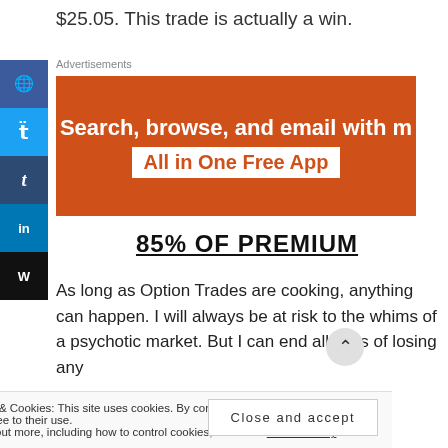$25.05. This trade is actually a win.
Advertisements
[Figure (other): Orange advertisement banner reading 'Search, browse, and email with m... All in One Free App']
85% OF PREMIUM
As long as Option Trades are cooking, anything can happen. I will always be at risk to the whims of a psychotic market. But I can end all risks of losing any
Privacy & Cookies: This site uses cookies. By continuing to use this website, you agree to their use. To find out more, including how to control cookies, see here: Cookie Policy
Close and accept